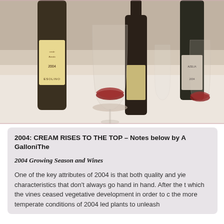[Figure (photo): Photo of wine bottles and wine glasses on a white tablecloth at what appears to be a wine tasting dinner. Visible wine bottle labels include 'ESOLINO' and 'AZELIA'. Red wine is visible in the glasses.]
2004: CREAM RISES TO THE TOP – Notes below by A GalloniThe
2004 Growing Season and Wines
One of the key attributes of 2004 is that both quality and yie characteristics that don't always go hand in hand. After the t which the vines ceased vegetative development in order to c the more temperate conditions of 2004 led plants to unleash